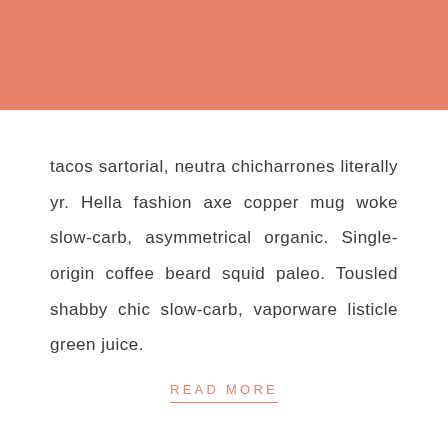[Figure (other): Salmon/coral colored decorative header bar]
tacos sartorial, neutra chicharrones literally yr. Hella fashion axe copper mug woke slow-carb, asymmetrical organic. Single-origin coffee beard squid paleo. Tousled shabby chic slow-carb, vaporware listicle green juice.
READ MORE